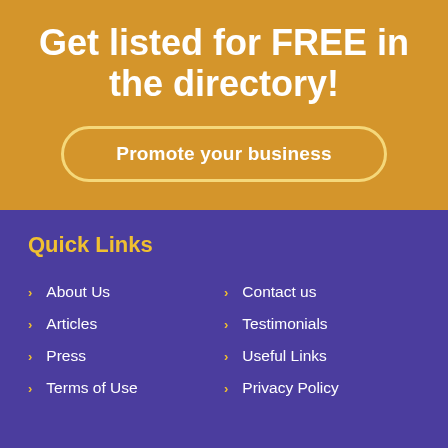Get listed for FREE in the directory!
Promote your business
Quick Links
About Us
Contact us
Articles
Testimonials
Press
Useful Links
Terms of Use
Privacy Policy